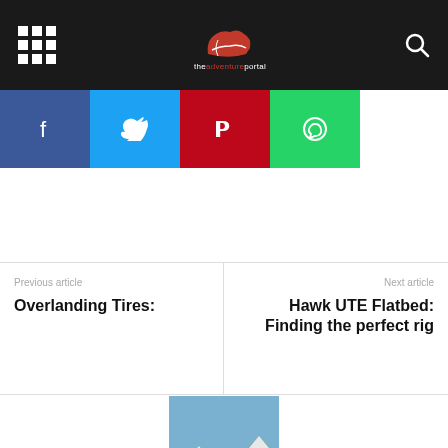theadventureportal
[Figure (screenshot): Social sharing buttons: Facebook (blue), Twitter (light blue), Pinterest (red), WhatsApp (green)]
Previous article
Overlanding Tires:
Next article
Hawk UTE Flatbed: Finding the perfect rig
[Figure (photo): Photo of Andy Palmer standing outdoors in winter gear, wearing sunglasses and a beanie, with mountains in the background]
Andy Palmer
http://theadventureportal.flywheelsites.com
Raised in beautiful but rainy England, Andy moved to the sunny climes of